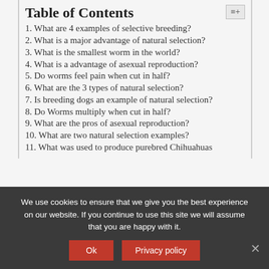Table of Contents
1. What are 4 examples of selective breeding?
2. What is a major advantage of natural selection?
3. What is the smallest worm in the world?
4. What is a advantage of asexual reproduction?
5. Do worms feel pain when cut in half?
6. What are the 3 types of natural selection?
7. Is breeding dogs an example of natural selection?
8. Do Worms multiply when cut in half?
9. What are the pros of asexual reproduction?
10. What are two natural selection examples?
11. What was used to produce purebred Chihuahuas
We use cookies to ensure that we give you the best experience on our website. If you continue to use this site we will assume that you are happy with it.
Ok | Privacy policy